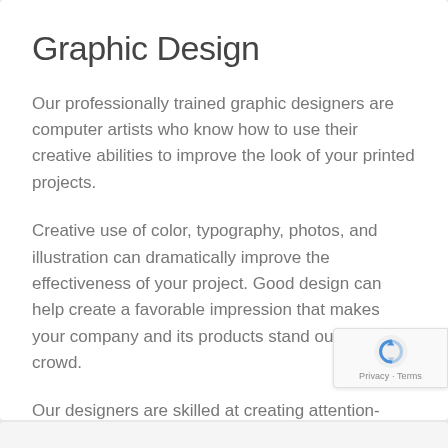Graphic Design
Our professionally trained graphic designers are computer artists who know how to use their creative abilities to improve the look of your printed projects.
Creative use of color, typography, photos, and illustration can dramatically improve the effectiveness of your project. Good design can help create a favorable impression that makes your company and its products stand out in the crowd.
Our designers are skilled at creating attention-getting brochures, sell sheets, booklets, manuals, and newsletters. They also specialize in the creation of business forms and all types of workplace documents.